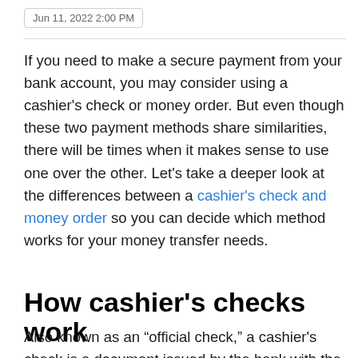Jun 11, 2022 2:00 PM
If you need to make a secure payment from your bank account, you may consider using a cashier's check or money order. But even though these two payment methods share similarities, there will be times when it makes sense to use one over the other. Let's take a deeper look at the differences between a cashier's check and money order so you can decide which method works for your money transfer needs.
How cashier's checks work
Also known as an “official check,” a cashier's check is a document issued by the bank with the their funds